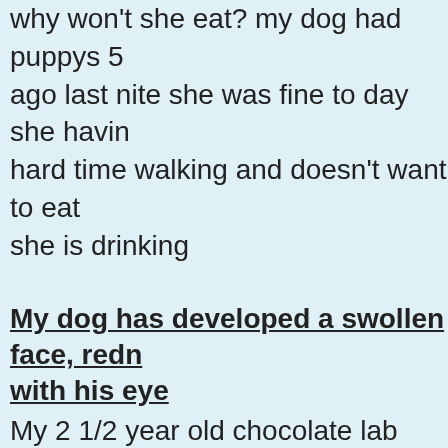why won't she eat? my dog had puppys 5 ago last nite she was fine to day she having hard time walking and doesn't want to eat she is drinking
My dog has developed a swollen face, redn with his eye
My 2 1/2 year old chocolate lab within the two hours has developed a swollen face. T is some redness above his eye, on one leg on one si My 2 1/2 year old chocolate lab v the last two hours has developed a swollen face. There is some redness above his eye one leg and on one side of his chest
Why has my dog vomited?
Hi my dog is about 60 days pregnant; we'v been trying to not over feed her. Just toda